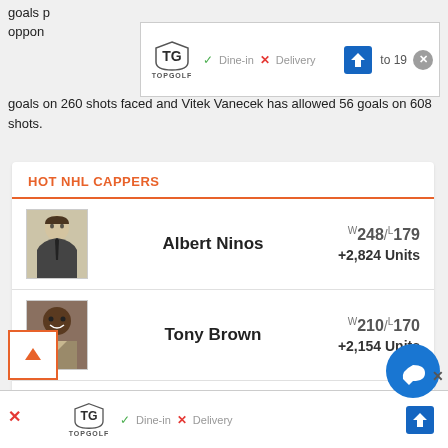goals p
oppon
goals on 260 shots faced and Vitek Vanecek has allowed 56 goals on 608 shots.
[Figure (screenshot): TopGolf advertisement banner with Dine-in and Delivery options, navigation icon and close button]
HOT NHL CAPPERS
Albert Ninos W248/L179 +2,824 Units
Tony Brown W210/L170 +2,154 Units
Dana Lane W142/...
[Figure (screenshot): Bottom TopGolf advertisement banner with Dine-in and Delivery options]